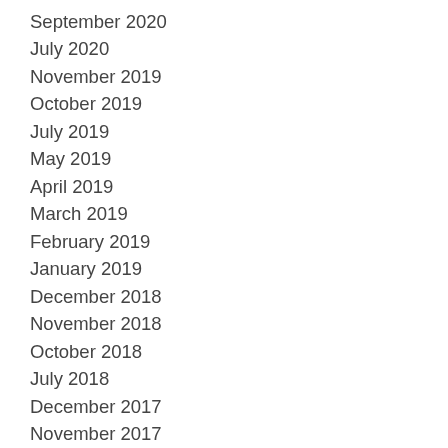September 2020
July 2020
November 2019
October 2019
July 2019
May 2019
April 2019
March 2019
February 2019
January 2019
December 2018
November 2018
October 2018
July 2018
December 2017
November 2017
October 2017
September 2017
January 2017
November 2016